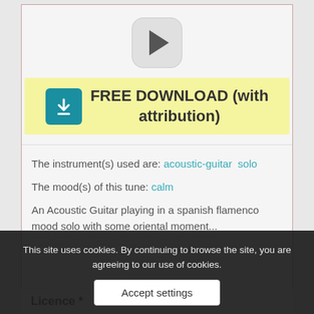[Figure (screenshot): Play button — rounded square with triangle play icon]
[Figure (infographic): FREE DOWNLOAD (with attribution) banner with teal download icon on yellow background]
The instrument(s) used are: acoustic-guitar  solo
The mood(s) of this tune: calm
An Acoustic Guitar playing in a spanish flamenco mood solo with some oriental moment...
This site uses cookies. By continuing to browse the site, you are agreeing to our use of cookies.
Accept settings
Licence *